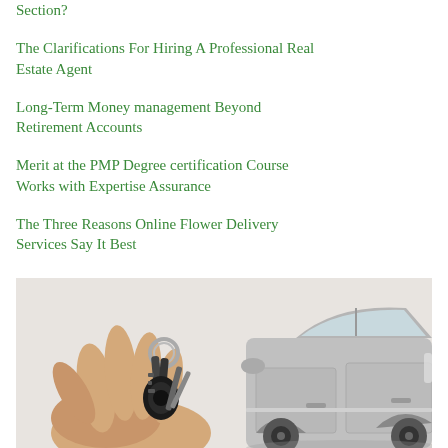Section?
The Clarifications For Hiring A Professional Real Estate Agent
Long-Term Money management Beyond Retirement Accounts
Merit at the PMP Degree certification Course Works with Expertise Assurance
The Three Reasons Online Flower Delivery Services Say It Best
[Figure (photo): A hand holding car keys with a silver car visible in the background]